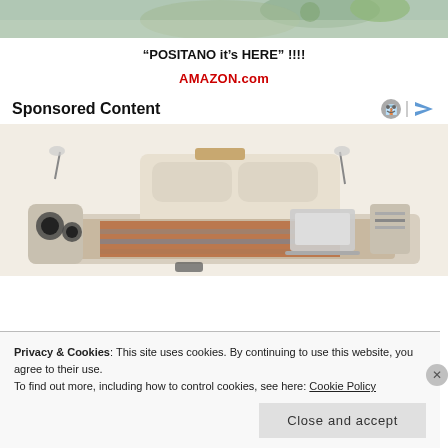[Figure (photo): Top portion of a photograph, appears to show a colorful outdoor scene]
“POSITANO it’s HERE” !!!!
AMAZON.com
Sponsored Content
[Figure (photo): Product photo of a luxury multi-functional bed with built-in speakers, headboard shelves, massage chair, laptop stand, and striped bedding]
Privacy & Cookies: This site uses cookies. By continuing to use this website, you agree to their use.
To find out more, including how to control cookies, see here: Cookie Policy
Close and accept